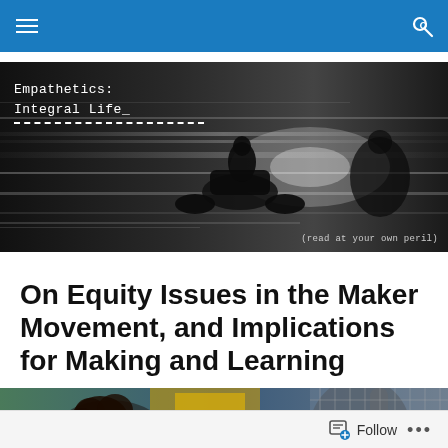Navigation bar with menu and search icons
[Figure (photo): Black and white motion-blur photo of a motorcyclist on a road at night, with two lines of white text overlay reading 'Empathetics: Integral Life' in monospace font and '(read at your own peril)' caption in the bottom right corner.]
On Equity Issues in the Maker Movement, and Implications for Making and Learning
[Figure (photo): Color photograph showing two children, one with curly dark hair in the foreground and another in the background, in what appears to be an outdoor urban setting with graffiti and chain-link fence visible.]
Follow ...